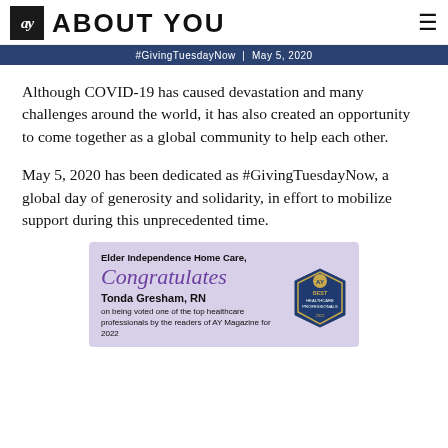ay ABOUT YOU
#GivingTuesdayNow | May 5, 2020
Although COVID-19 has caused devastation and many challenges around the world, it has also created an opportunity to come together as a global community to help each other.
May 5, 2020 has been dedicated as #GivingTuesdayNow, a global day of generosity and solidarity, in effort to mobilize support during this unprecedented time.
[Figure (infographic): Advertisement for Elder Independence Home Care congratulating Tonda Gresham, RN on being voted one of the top healthcare professionals by the readers of AY Magazine for 2022. Features a purple/lavender background with an AY Best Healthcare Professionals badge.]